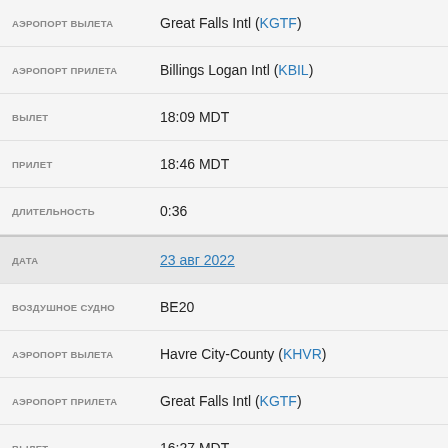| Label | Value |
| --- | --- |
| АЭРОПОРТ ВЫЛЕТА | Great Falls Intl (KGTF) |
| АЭРОПОРТ ПРИЛЕТА | Billings Logan Intl (KBIL) |
| ВЫЛЕТ | 18:09 MDT |
| ПРИЛЕТ | 18:46 MDT |
| ДЛИТЕЛЬНОСТЬ | 0:36 |
| ДАТА | 23 авг 2022 |
| ВОЗДУШНОЕ СУДНО | BE20 |
| АЭРОПОРТ ВЫЛЕТА | Havre City-County (KHVR) |
| АЭРОПОРТ ПРИЛЕТА | Great Falls Intl (KGTF) |
| ВЫЛЕТ | 16:27 MDT |
| ПРИЛЕТ | 16:48 MDT |
| ДЛИТЕЛЬНОСТЬ | 0:21 |
| ДАТА | 23 авг 2022 |
| ВОЗДУШНОЕ СУДНО | BE20 |
| АЭРОПОРТ ВЫЛЕТА | Billings Logan Intl (KBIL) |
| АЭРОПОРТ ПРИЛЕТА | Havre City-County (KHVR) |
| ВЫЛЕТ | 14:49 MDT |